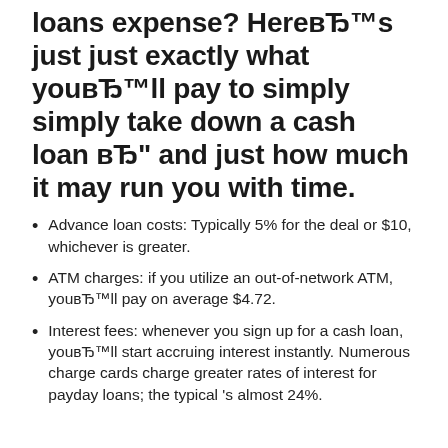loans expense? HereвЂ™s just just exactly what youвЂ™ll pay to simply simply take down a cash loan вЂ“ and just how much it may run you with time.
Advance loan costs: Typically 5% for the deal or $10, whichever is greater.
ATM charges: if you utilize an out-of-network ATM, youвЂ™ll pay on average $4.72.
Interest fees: whenever you sign up for a cash loan, youвЂ™ll start accruing interest instantly. Numerous charge cards charge greater rates of interest for payday loans; the typical’s almost 24%.